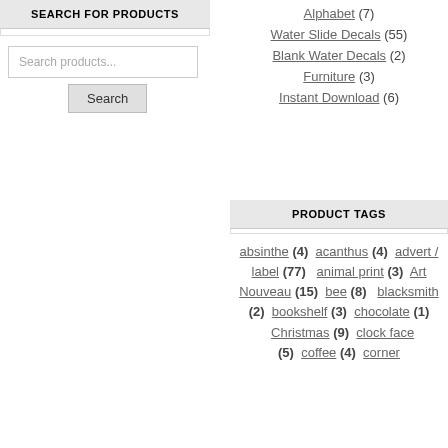SEARCH FOR PRODUCTS
Search products...
Search
Alphabet (7)
Water Slide Decals (55)
Blank Water Decals (2)
Furniture (3)
Instant Download (6)
PRODUCT TAGS
absinthe (4)  acanthus (4)  advert / label (77)  animal print (3)  Art Nouveau (15)  bee (8)  blacksmith (2)  bookshelf (3)  chocolate (1)  Christmas (9)  clock face (5)  coffee (4)  corner